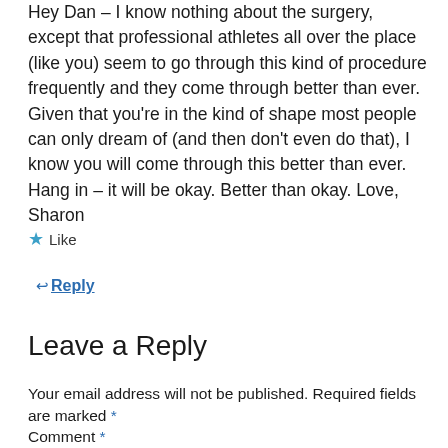Hey Dan – I know nothing about the surgery, except that professional athletes all over the place (like you) seem to go through this kind of procedure frequently and they come through better than ever. Given that you're in the kind of shape most people can only dream of (and then don't even do that), I know you will come through this better than ever. Hang in – it will be okay. Better than okay. Love, Sharon
★ Like
↩ Reply
Leave a Reply
Your email address will not be published. Required fields are marked *
Comment *